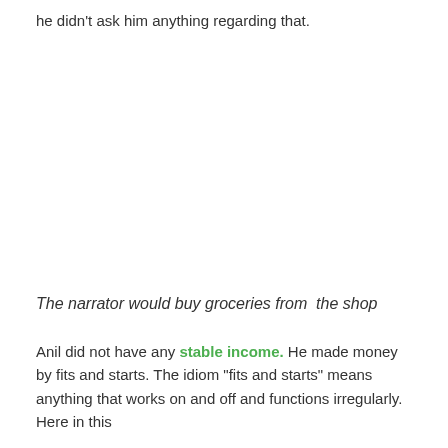he didn't ask him anything regarding that.
The narrator would buy groceries from the shop
Anil did not have any stable income. He made money by fits and starts. The idiom "fits and starts" means anything that works on and off and functions irregularly. Here in this context the narrator didn't ask him and he also didn't...